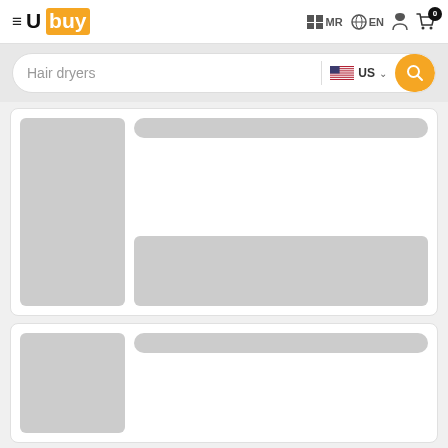Ubuy - MR - EN - Cart(0)
Hair dryers - US - search
[Figure (screenshot): Loading placeholder card 1 with grey image area and grey title/description bars]
[Figure (screenshot): Loading placeholder card 2 with grey image area and grey title bar]